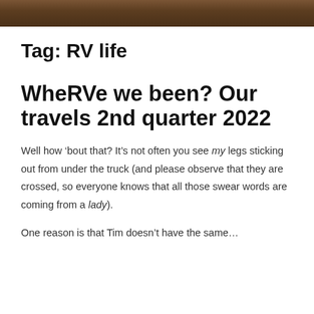[Figure (photo): A cropped photo strip at the top of the page showing a warm brown/reddish earth-toned scene, likely an outdoor photo with people or an RV setting.]
Tag: RV life
WheRVe we been? Our travels 2nd quarter 2022
Well how ‘bout that? It’s not often you see my legs sticking out from under the truck (and please observe that they are crossed, so everyone knows that all those swear words are coming from a lady).
One reason is that Tim doesn’t have the same…